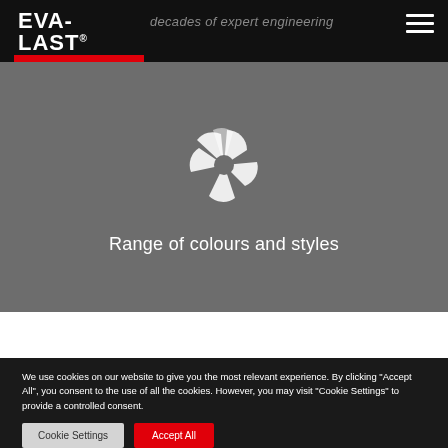[Figure (logo): Eva-Last logo with tagline 'Inspired by nature, designed for life' on black background]
decades of expert engineering
[Figure (illustration): White pinwheel/colour wheel icon on grey background]
Range of colours and styles
We use cookies on our website to give you the most relevant experience. By clicking "Accept All", you consent to the use of all the cookies. However, you may visit "Cookie Settings" to provide a controlled consent.
Cookie Settings
Accept All